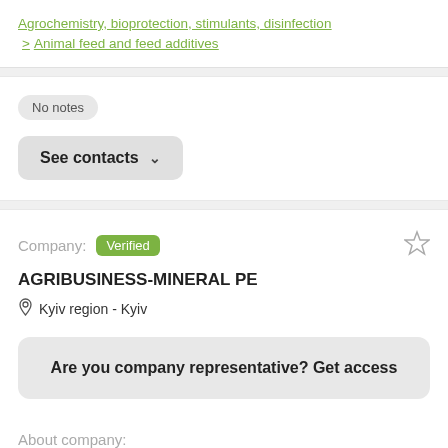Agrochemistry, bioprotection, stimulants, disinfection > Animal feed and feed additives
No notes
See contacts
Company: Verified
AGRIBUSINESS-MINERAL PE
Kyiv region - Kyiv
Are you company representative? Get access
About company: